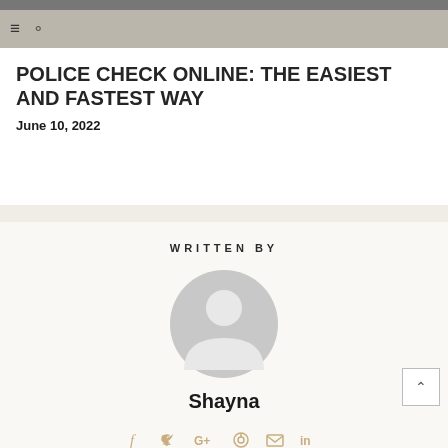[Figure (photo): Hero image at top of page, partially visible dark photograph]
POLICE CHECK ONLINE: THE EASIEST AND FASTEST WAY
June 10, 2022
WRITTEN BY
[Figure (illustration): Generic user avatar placeholder in gray]
Shayna
[Figure (other): Social media icons: f (Facebook), Twitter bird, G+, Pinterest, email envelope, LinkedIn]